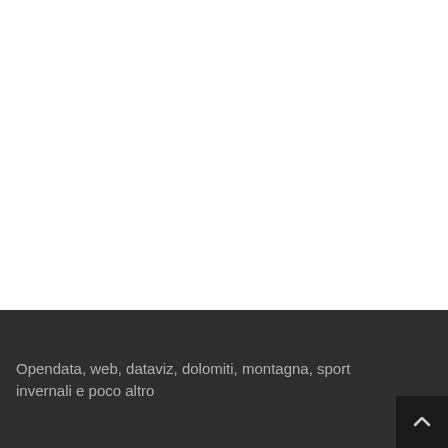Opendata, web, dataviz, dolomiti, montagna, sport invernali e poco altro